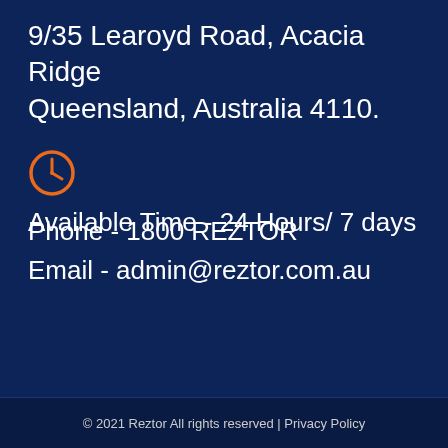9/35 Learoyd Road, Acacia Ridge Queensland, Australia 4110.
[Figure (illustration): Orange clock icon on dark navy background]
Available Time - 24 Hours/ 7 days
[Figure (illustration): Orange phone/call icon on dark navy background]
Phone - 1800 REZTOR
Email - admin@reztor.com.au
© 2021 Reztor All rights reserved | Privacy Policy